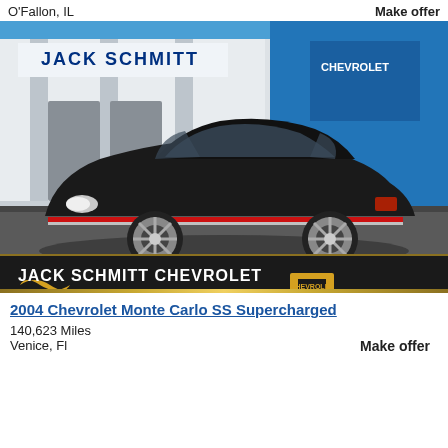O'Fallon, IL
Make offer
[Figure (photo): Black 2004 Chevrolet Monte Carlo SS Supercharged parked in front of Jack Schmitt Chevrolet dealership. The car is black with red and silver lower trim accents, photographed from a front three-quarter angle. The dealership building shows the Jack Schmitt sign and Chevrolet logo in the background. The bottom of the image has a dark banner reading 'JACK SCHMITT CHEVROLET OF O'FALLON' with the Chevrolet bowtie logo and www.jackschmitt.com.]
2004 Chevrolet Monte Carlo SS Supercharged
140,623 Miles
Make offer
Venice, Fl